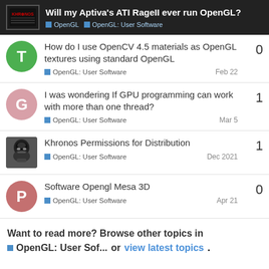Will my Aptiva's ATI RageII ever run OpenGL? | OpenGL | OpenGL: User Software
How do I use OpenCV 4.5 materials as OpenGL textures using standard OpenGL — OpenGL: User Software — Feb 22 — 0 replies
I was wondering If GPU programming can work with more than one thread? — OpenGL: User Software — Mar 5 — 1 reply
Khronos Permissions for Distribution — OpenGL: User Software — Dec 2021 — 1 reply
Software Opengl Mesa 3D — OpenGL: User Software — Apr 21 — 0 replies
Want to read more? Browse other topics in OpenGL: User Sof... or view latest topics.